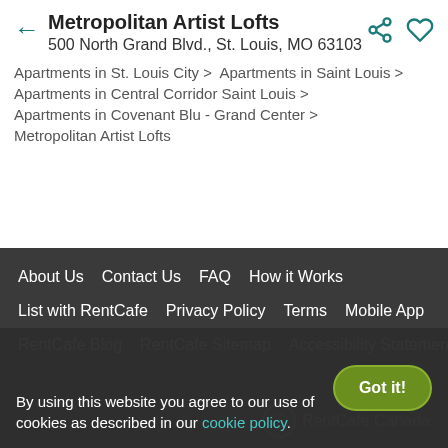Metropolitan Artist Lofts
500 North Grand Blvd., St. Louis, MO 63103
Apartments in St. Louis City > Apartments in Saint Louis > Apartments in Central Corridor Saint Louis > Apartments in Covenant Blu - Grand Center > Metropolitan Artist Lofts
About Us  Contact Us  FAQ  How it Works  List with RentCafe  Privacy Policy  Terms  Mobile App  RentCafe Blog  RentCafe Sitemap  Accessibility Statement
RentCafe Canada
By using this website you agree to our use of cookies as described in our cookie policy.